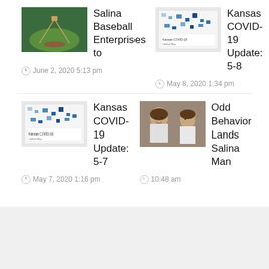[Figure (screenshot): News article thumbnail - baseball field aerial view]
Salina Baseball Enterprises to
June 2, 2020 5:13 pm
[Figure (screenshot): News article thumbnail - Kansas COVID-19 map]
Kansas COVID-19 Update: 5-8
May 8, 2020 1:34 pm
[Figure (screenshot): News article thumbnail - Kansas COVID-19 map]
Kansas COVID-19 Update: 5-7
May 7, 2020 1:16 pm
[Figure (photo): Mugshot photo of a man - front and side profile]
Odd Behavior Lands Salina Man
10:48 am